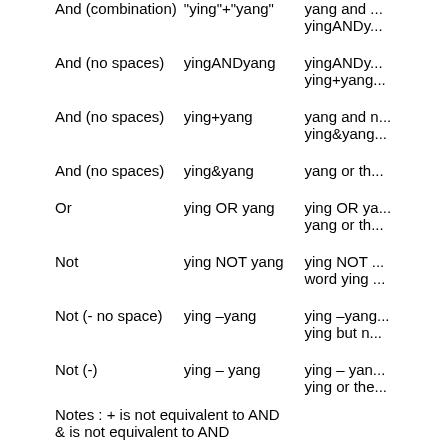| Operator | Example | Result |
| --- | --- | --- |
| And (combination) | "ying"+"yang" | yang and ...
yingANDy... |
| And (no spaces) | yingANDyang | yingANDy...
ying+yang... |
| And (no spaces) | ying+yang | yang and n...
ying&yang... |
| And (no spaces) | ying&yang | yang or th... |
| Or | ying OR yang | ying OR ya...
yang or th... |
| Not | ying NOT yang | ying NOT ...
word ying... |
| Not (- no space) | ying –yang | ying –yang...
ying but n... |
| Not (-) | ying – yang | ying – yan...
ying or the... |
Notes : + is not equivalent to AND
& is not equivalent to AND